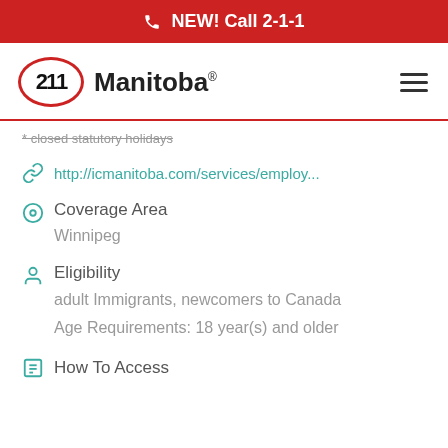NEW! Call 2-1-1
[Figure (logo): 211 Manitoba logo with red oval border and text]
* closed statutory holidays
http://icmanitoba.com/services/employ...
Coverage Area
Winnipeg
Eligibility
adult Immigrants, newcomers to Canada
Age Requirements: 18 year(s) and older
How To Access